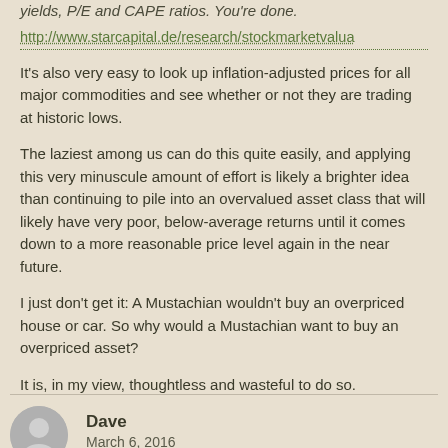yields, P/E and CAPE ratios. You're done.
http://www.starcapital.de/research/stockmarketvalua
It's also very easy to look up inflation-adjusted prices for all major commodities and see whether or not they are trading at historic lows.
The laziest among us can do this quite easily, and applying this very minuscule amount of effort is likely a brighter idea than continuing to pile into an overvalued asset class that will likely have very poor, below-average returns until it comes down to a more reasonable price level again in the near future.
I just don't get it: A Mustachian wouldn't buy an overpriced house or car. So why would a Mustachian want to buy an overpriced asset?
It is, in my view, thoughtless and wasteful to do so.
Reply
Dave
March 6, 2016